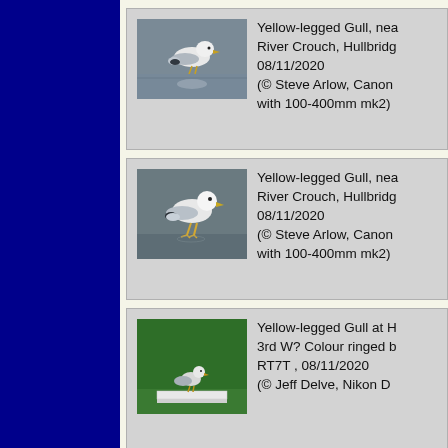[Figure (photo): Yellow-legged Gull standing on water surface, muted grey-brown tones]
Yellow-legged Gull, near River Crouch, Hullbridge, 08/11/2020 (© Steve Arlow, Canon ... with 100-400mm mk2)
[Figure (photo): Yellow-legged Gull standing in shallow water, darker background]
Yellow-legged Gull, near River Crouch, Hullbridge, 08/11/2020 (© Steve Arlow, Canon ... with 100-400mm mk2)
[Figure (photo): Yellow-legged Gull at H..., 3rd W? Colour ringed bird RT7T, on green grass near white structure]
Yellow-legged Gull at H... 3rd W? Colour ringed b... RT7T , 08/11/2020 (© Jeff Delve, Nikon D...)